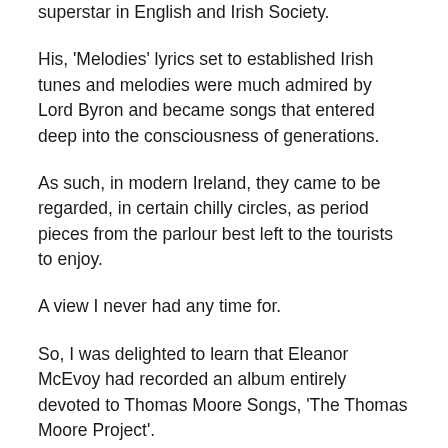superstar in English and Irish Society.
His, 'Melodies' lyrics set to established Irish tunes and melodies were much admired by Lord Byron and became songs that entered deep into the consciousness of generations.
As such, in modern Ireland, they came to be regarded, in certain chilly circles, as period pieces from the parlour best left to the tourists to enjoy.
A view I never had any time for.
So, I was delighted to learn that Eleanor McEvoy had recorded an album entirely devoted to Thomas Moore Songs, 'The Thomas Moore Project'.
The distinguishing mark of Eleanor's career, for me, was a wholly admirable creative restlessness which led her